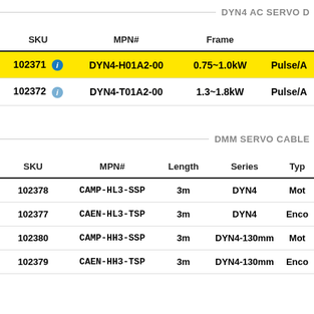DYN4 AC SERVO D
| SKU | MPN# | Frame |  |
| --- | --- | --- | --- |
| 102371 ℹ | DYN4-H01A2-00 | 0.75~1.0kW | Pulse/A |
| 102372 ℹ | DYN4-T01A2-00 | 1.3~1.8kW | Pulse/A |
DMM SERVO CABLE
| SKU | MPN# | Length | Series | Typ |
| --- | --- | --- | --- | --- |
| 102378 | CAMP-HL3-SSP | 3m | DYN4 | Mot |
| 102377 | CAEN-HL3-TSP | 3m | DYN4 | Enco |
| 102380 | CAMP-HH3-SSP | 3m | DYN4-130mm | Mot |
| 102379 | CAEN-HH3-TSP | 3m | DYN4-130mm | Enco |